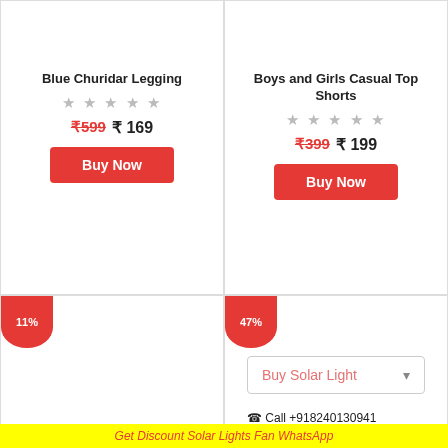Blue Churidar Legging
★★★★★ (rating)
₹599 ₹ 169
Buy Now
Boys and Girls Casual Top Shorts
★★★★★ (rating)
₹399 ₹ 199
Buy Now
11% discount badge
47% discount badge
Buy Solar Light ▾
📞 Call +918240130941
👍 Click 2 💬 8240130941
Get Discount Solar Lights Fan WhatsApp